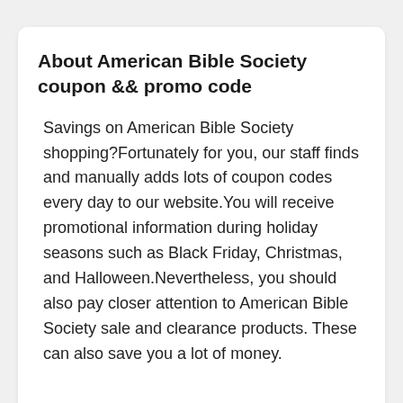About American Bible Society coupon && promo code
Savings on American Bible Society shopping?Fortunately for you, our staff finds and manually adds lots of coupon codes every day to our website.You will receive promotional information during holiday seasons such as Black Friday, Christmas, and Halloween.Nevertheless, you should also pay closer attention to American Bible Society sale and clearance products. These can also save you a lot of money.
Hot Stores Coupons You May Like